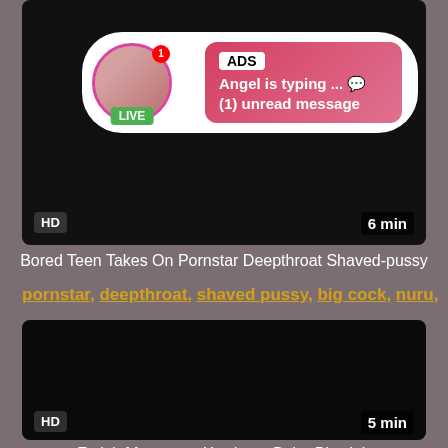[Figure (screenshot): Video thumbnail - dark/black with HD badge bottom left and 6 min duration bottom right. Contains an ad overlay showing a pink chat bubble with 'ADS', 'Angel is typing ... 💬', '(1) unread message' and a live avatar with LIVE badge.]
Bored Teen Takes On Pornstar Deepthroat Shaved-pussy
pornstar, deepthroat, shaved pussy, big cock, nuru, teen ...
[Figure (screenshot): Video thumbnail - completely black/dark with HD badge bottom left and 5 min duration bottom right.]
Fetish Masseuse Hardcore Babe Blowjob